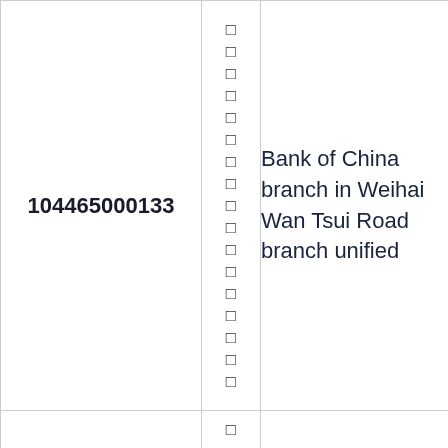| 104465000133 | □
□
□
□
□
□
□
□
□
□
□
□
□
□
□
□
□ | Bank of China branch in Weihai Wan Tsui Road branch unified |
|  | □ |  |